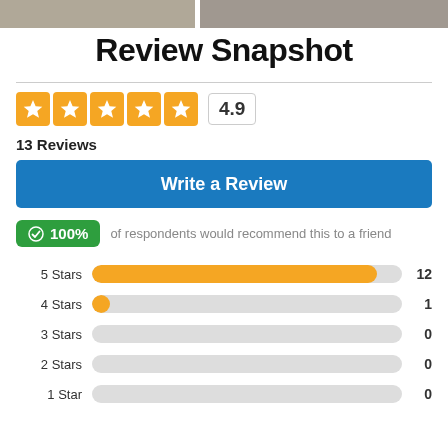[Figure (photo): Two partially visible photos at top of page]
Review Snapshot
[Figure (other): Star rating: 4.9 out of 5, shown as 5 orange star boxes with rating number 4.9]
13 Reviews
Write a Review
100% of respondents would recommend this to a friend
[Figure (bar-chart): Star rating distribution]